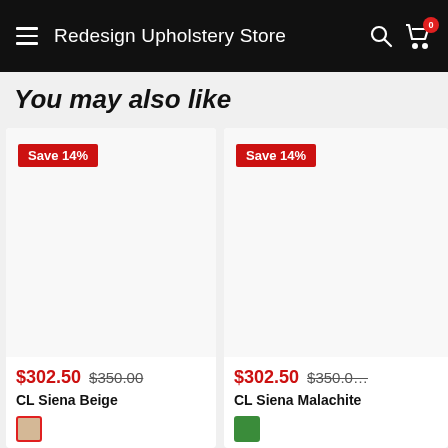Redesign Upholstery Store
You may also like
Save 14%
$302.50  $350.00
CL Siena Beige
Save 14%
$302.50  $350.0…
CL Siena Malachite